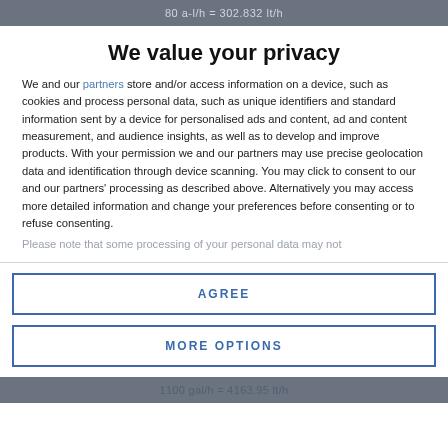80 a-l/h = 302.832 lt/h
We value your privacy
We and our partners store and/or access information on a device, such as cookies and process personal data, such as unique identifiers and standard information sent by a device for personalised ads and content, ad and content measurement, and audience insights, as well as to develop and improve products. With your permission we and our partners may use precise geolocation data and identification through device scanning. You may click to consent to our and our partners' processing as described above. Alternatively you may access more detailed information and change your preferences before consenting or to refuse consenting.
Please note that some processing of your personal data may not
AGREE
MORE OPTIONS
1100 gal/h = 4163.95 lt/h